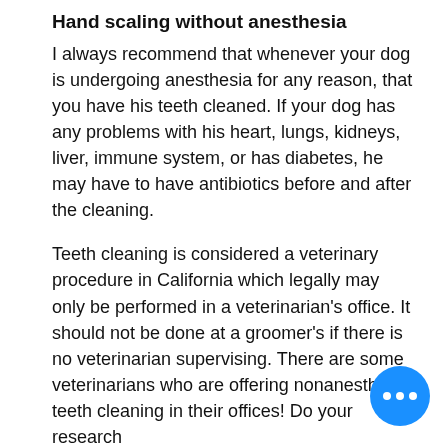Hand scaling without anesthesia
I always recommend that whenever your dog is undergoing anesthesia for any reason, that you have his teeth cleaned. If your dog has any problems with his heart, lungs, kidneys, liver, immune system, or has diabetes, he may have to have antibiotics before and after the cleaning.
Teeth cleaning is considered a veterinary procedure in California which legally may only be performed in a veterinarian's office. It should not be done at a groomer's if there is no veterinarian supervising. There are some veterinarians who are offering nonanesthesia teeth cleaning in their offices! Do your research
[Figure (other): Blue circular chat button with three white dots]